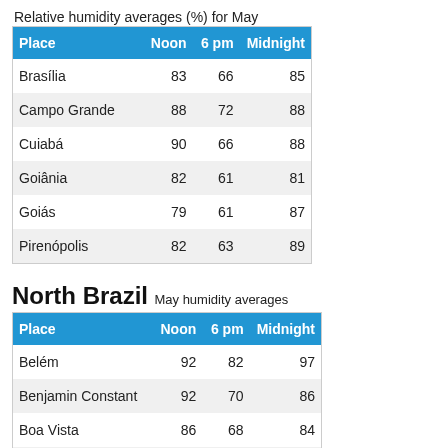Relative humidity averages (%) for May
| Place | Noon | 6 pm | Midnight |
| --- | --- | --- | --- |
| Brasília | 83 | 66 | 85 |
| Campo Grande | 88 | 72 | 88 |
| Cuiabá | 90 | 66 | 88 |
| Goiânia | 82 | 61 | 81 |
| Goiás | 79 | 61 | 87 |
| Pirenópolis | 82 | 63 | 89 |
North Brazil
May humidity averages
| Place | Noon | 6 pm | Midnight |
| --- | --- | --- | --- |
| Belém | 92 | 82 | 97 |
| Benjamin Constant | 92 | 70 | 86 |
| Boa Vista | 86 | 68 | 84 |
| Cruzeiro do Sul | 96 | 76 | 89 |